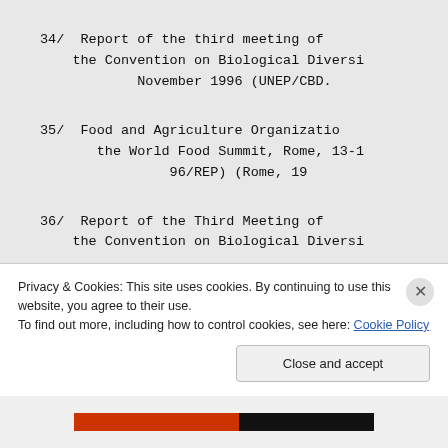34/  Report of the third meeting of the Convention on Biological Diversity, November 1996 (UNEP/CBD...
35/  Food and Agriculture Organization, the World Food Summit, Rome, 13-1... 96/REP) (Rome, 19...
36/  Report of the Third Meeting of the Convention on Biological Diversity...
Privacy & Cookies: This site uses cookies. By continuing to use this website, you agree to their use. To find out more, including how to control cookies, see here: Cookie Policy